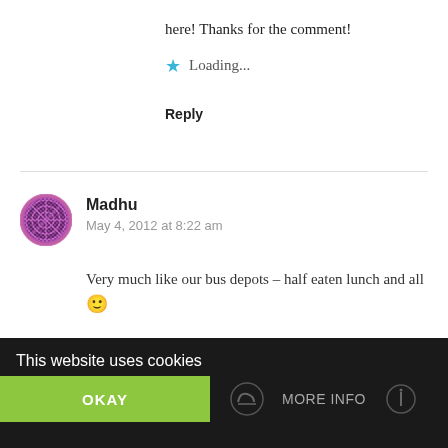here! Thanks for the comment!
Loading...
Reply
Madhu
May 4, 2012 at 8:22 am
Very much like our bus depots – half eaten lunch and all 🙂
This website uses cookies
OKAY
MORE INFO